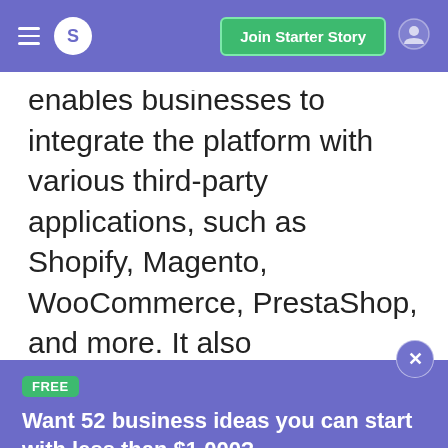S  Join Starter Story
enables businesses to integrate the platform with various third-party applications, such as Shopify, Magento, WooCommerce, PrestaShop, and more. It also
FREE
Want 52 business ideas you can start with less than $1,000?
Your email
Send Now